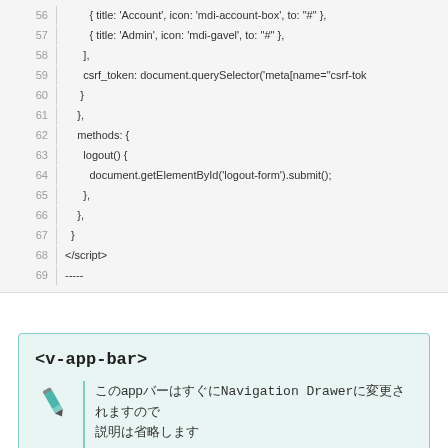[Figure (screenshot): Code block showing lines 56-69 of a JavaScript/Vue component with line numbers. Contains code for navigation items, csrf_token, methods with logout function, and closing script tag with dashes.]
<v-app-bar>
このappバーはすぐにNavigation Drawerに変更されますので説明は省略します
このclipped-leftというのは〜